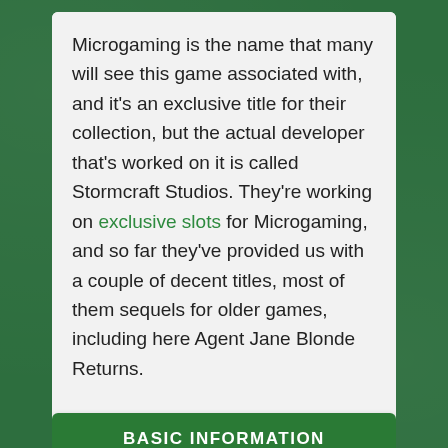Microgaming is the name that many will see this game associated with, and it's an exclusive title for their collection, but the actual developer that's worked on it is called Stormcraft Studios. They're working on exclusive slots for Microgaming, and so far they've provided us with a couple of decent titles, most of them sequels for older games, including here Agent Jane Blonde Returns.
BASIC INFORMATION
| Field | Value |
| --- | --- |
| Software | Microgaming |
| Reels | 5 |
| Pay-Lines | 50 |
| Free Spins | No |